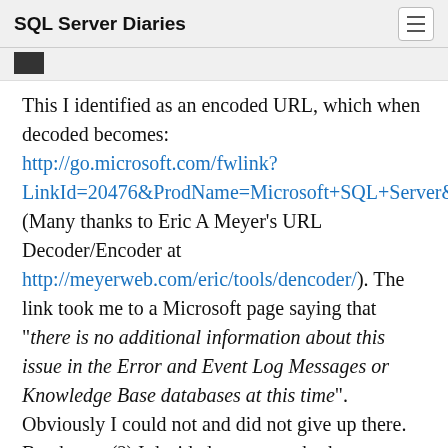SQL Server Diaries
This I identified as an encoded URL, which when decoded becomes: http://go.microsoft.com/fwlink?LinkId=20476&ProdName=Microsoft+SQL+Server& (Many thanks to Eric A Meyer's URL Decoder/Encoder at http://meyerweb.com/eric/tools/dencoder/). The link took me to a Microsoft page saying that “there is no additional information about this issue in the Error and Event Log Messages or Knowledge Base databases at this time”. Obviously I could not and did not give up there.  By chance (?) I decided to remove both